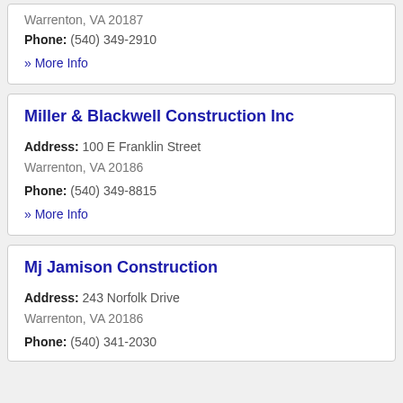Warrenton, VA 20187
Phone: (540) 349-2910
» More Info
Miller & Blackwell Construction Inc
Address: 100 E Franklin Street Warrenton, VA 20186
Phone: (540) 349-8815
» More Info
Mj Jamison Construction
Address: 243 Norfolk Drive Warrenton, VA 20186
Phone: (540) 341-2030